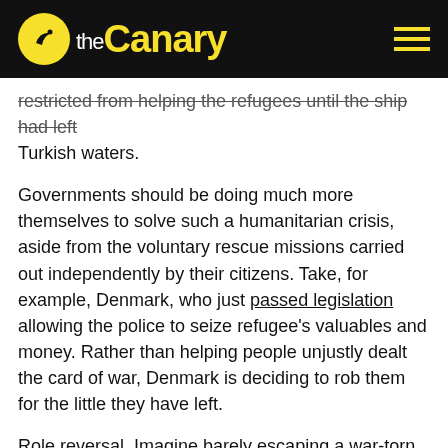the Canary
restricted from helping the refugees until the ship had left Turkish waters.
Governments should be doing much more themselves to solve such a humanitarian crisis, aside from the voluntary rescue missions carried out independently by their citizens. Take, for example, Denmark, who just passed legislation allowing the police to seize refugee’s valuables and money. Rather than helping people unjustly dealt the card of war, Denmark is deciding to rob them for the little they have left.
Role reversal. Imagine barely escaping a war-torn London, erupting in untold violence that took the lives of people you know, which destroyed your home and community, only to have your last tenner robbed by Danish police officers.
States are viewing refugees, not as humans needing help, but as inconveniences to be managed.